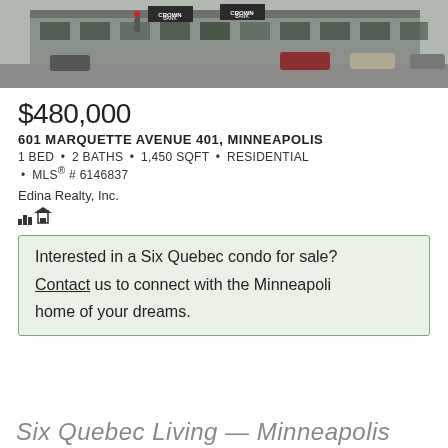[Figure (photo): Street-level photo of a downtown Minneapolis building with Crown Bank signage, cars parked outside, winter scene]
$480,000
601 MARQUETTE AVENUE 401, MINNEAPOLIS
1 BED • 2 BATHS • 1,450 SQFT • RESIDENTIAL • MLS® # 6146837
Edina Realty, Inc.
Interested in a Six Quebec condo for sale? Contact us to connect with the Minneapolis home of your dreams.
Six Quebec Living — Minneapolis